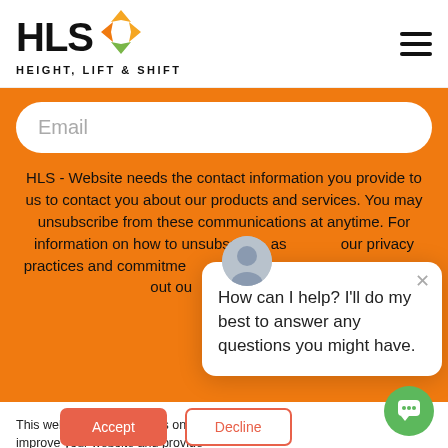[Figure (logo): HLS Height, Lift & Shift logo with diamond arrow graphic in orange, green, and yellow]
[Figure (infographic): Hamburger menu icon (three horizontal lines)]
Email
HLS - Website needs the contact information you provide to us to contact you about our products and services. You may unsubscribe from these communications at anytime. For information on how to unsubscribe, as well as our privacy practices and commitments to protecting your privacy, check out our Privacy Policy.
This website stores cookies on your computer. These cookies are used to improve your website and provide more personalized services to you, both on this website and through other media. To find out more about the cookies we use, see our Privacy Policy.
[Figure (screenshot): Chat popup with avatar photo and message: How can I help? I'll do my best to answer any questions you might have.]
Accept
Decline